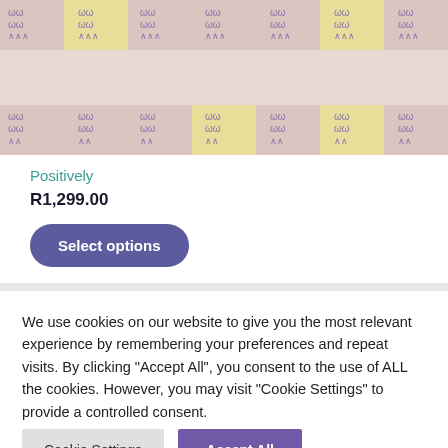[Figure (photo): Plaid/checkered fabric pattern with pink/mauve and cream/yellow squares featuring stitch and wave texture details]
Positively
R1,299.00
Select options
We use cookies on our website to give you the most relevant experience by remembering your preferences and repeat visits. By clicking "Accept All", you consent to the use of ALL the cookies. However, you may visit "Cookie Settings" to provide a controlled consent.
Cookie Settings
Accept All